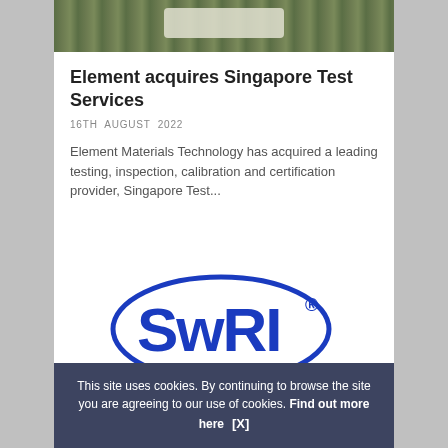[Figure (photo): Photo of an object on green grass, partially visible at top of page]
Element acquires Singapore Test Services
16TH AUGUST 2022
Element Materials Technology has acquired a leading testing, inspection, calibration and certification provider, Singapore Test...
[Figure (logo): SwRI logo — blue oval with bold blue SwRI text and registered trademark symbol]
This site uses cookies. By continuing to browse the site you are agreeing to our use of cookies. Find out more here   [X]